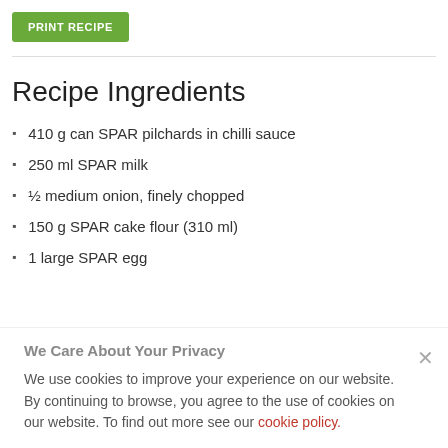PRINT RECIPE
Recipe Ingredients
410 g can SPAR pilchards in chilli sauce
250 ml SPAR milk
½ medium onion, finely chopped
150 g SPAR cake flour (310 ml)
1 large SPAR egg
We Care About Your Privacy
We use cookies to improve your experience on our website. By continuing to browse, you agree to the use of cookies on our website. To find out more see our cookie policy.